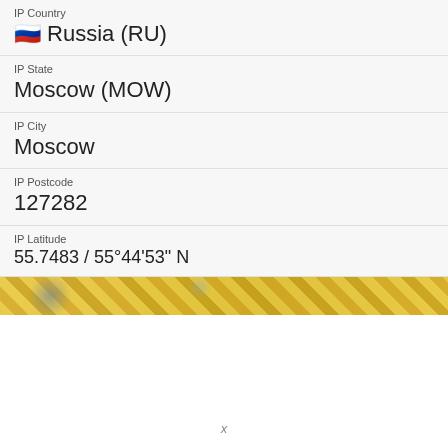IP Country
🇷🇺 Russia (RU)
IP State
Moscow (MOW)
IP City
Moscow
IP Postcode
127282
IP Latitude
55.7483 / 55°44'53" N
IP Longitude
37.6171 / 37°37'1" E
IP Timezone
Europe/Moscow
IP Local Time
Tue, 30 Aug 2022 21:55:44 +0300
[Figure (photo): Decorative image strip with golden/yellow ornamental pattern and blue circular element]